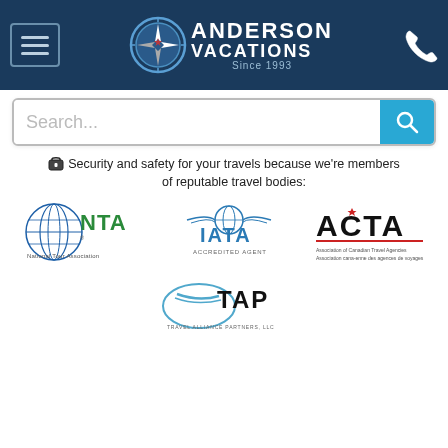[Figure (logo): Anderson Vacations header with compass logo, hamburger menu, and phone icon on dark navy background]
[Figure (screenshot): Search bar with placeholder text 'Search...' and teal search button]
Security and safety for your travels because we're members of reputable travel bodies:
[Figure (logo): NTA National Tour Association logo]
[Figure (logo): IATA Accredited Agent logo]
[Figure (logo): ACTA Association of Canadian Travel Agencies logo]
[Figure (logo): TAP Travel Alliance Partners LLC logo]